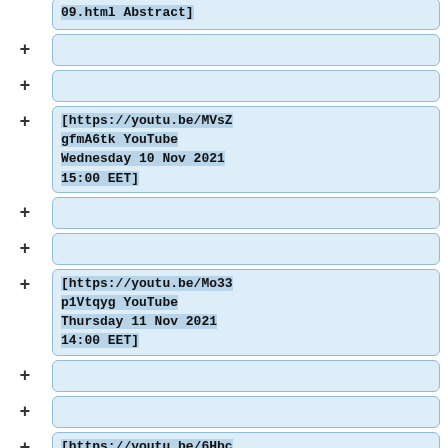09.html Abstract]
[collapsed/empty box]
[collapsed/empty box]
[https://youtu.be/MVsZgfmA6tk YouTube Wednesday 10 Nov 2021 15:00 EET]
[collapsed/empty box]
[collapsed/empty box]
[https://youtu.be/Mo33p1Vtqyg YouTube Thursday 11 Nov 2021 14:00 EET]
[collapsed/empty box]
[collapsed/empty box]
[https://youtu.be/6Hbc